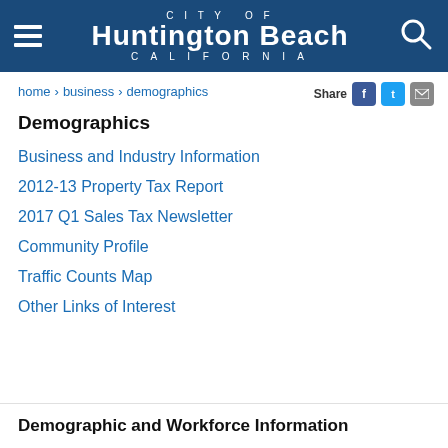CITY OF Huntington Beach CALIFORNIA
home > business > demographics
Demographics
Business and Industry Information
2012-13 Property Tax Report
2017 Q1 Sales Tax Newsletter
Community Profile
Traffic Counts Map
Other Links of Interest
Demographic and Workforce Information